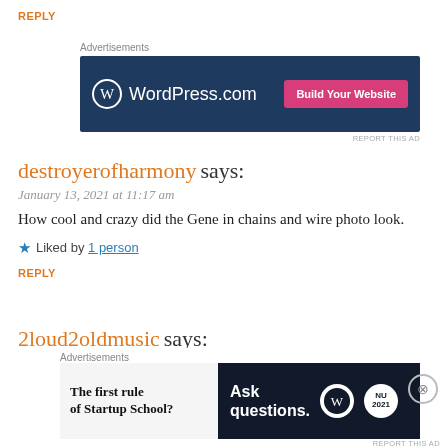REPLY
[Figure (screenshot): WordPress.com advertisement banner with blue background, WordPress logo on left, 'Build Your Website' pink button on right]
destroyerofharmony says:
January 13, 2021 at 11:17 am
How cool and crazy did the Gene in chains and wire photo look.
★ Liked by 1 person
REPLY
2loud2oldmusic says:
January 13, 2021 at 11:50 am
[Figure (screenshot): Bottom advertisement banner: left side shows 'The first rule of Startup School?' on light background; right side dark background with 'Ask questions.' text and WordPress/NU logos]